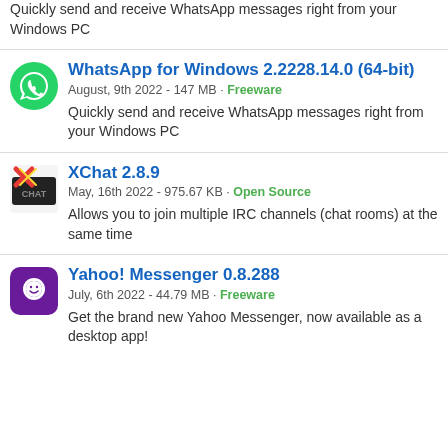Quickly send and receive WhatsApp messages right from your Windows PC
WhatsApp for Windows 2.2228.14.0 (64-bit)
August, 9th 2022 - 147 MB · Freeware
Quickly send and receive WhatsApp messages right from your Windows PC
XChat 2.8.9
May, 16th 2022 - 975.67 KB · Open Source
Allows you to join multiple IRC channels (chat rooms) at the same time
Yahoo! Messenger 0.8.288
July, 6th 2022 - 44.79 MB · Freeware
Get the brand new Yahoo Messenger, now available as a desktop app!